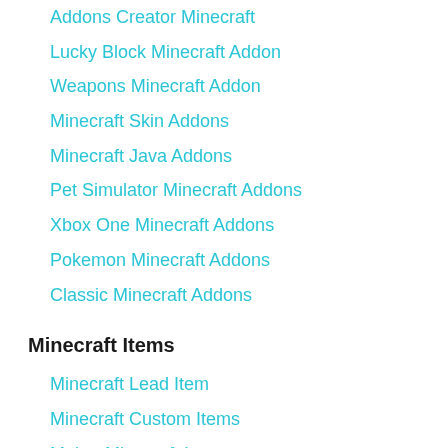Addons Creator Minecraft
Lucky Block Minecraft Addon
Weapons Minecraft Addon
Minecraft Skin Addons
Minecraft Java Addons
Pet Simulator Minecraft Addons
Xbox One Minecraft Addons
Pokemon Minecraft Addons
Classic Minecraft Addons
Minecraft Items
Minecraft Lead Item
Minecraft Custom Items
Maker Minecraft Items